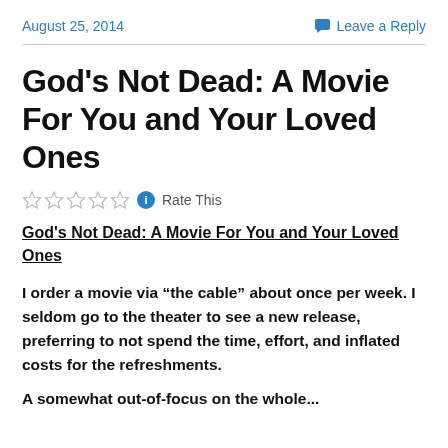August 25, 2014   Leave a Reply
God’s Not Dead: A Movie For You and Your Loved Ones
☆☆☆☆☆ ⓘ Rate This
God’s Not Dead: A Movie For You and Your Loved Ones
I order a movie via “the cable” about once per week. I seldom go to the theater to see a new release, preferring to not spend the time, effort, and inflated costs for the refreshments.
A somewhat out-of-focus on the whole...